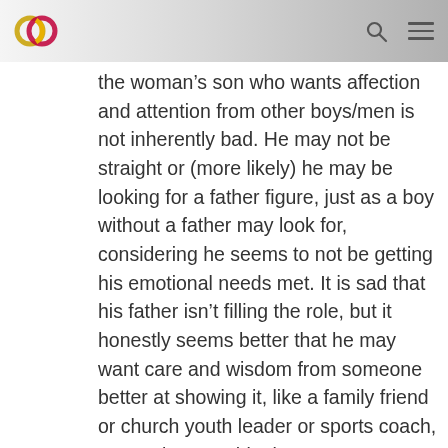[logo] [search icon] [menu icon]
the woman’s son who wants affection and attention from other boys/men is not inherently bad. He may not be straight or (more likely) he may be looking for a father figure, just as a boy without a father may look for, considering he seems to not be getting his emotional needs met. It is sad that his father isn’t filling the role, but it honestly seems better that he may want care and wisdom from someone better at showing it, like a family friend or church youth leader or sports coach, etc. As long as this doesn’t open up doors for more abuse, then it could be a